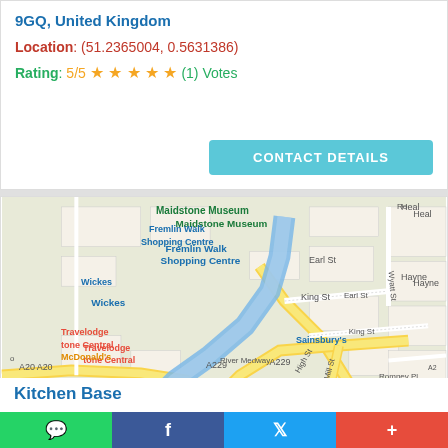9GQ, United Kingdom
Location: (51.2365004, 0.5631386)
Rating: 5/5 ★★★★★ (1) Votes
CONTACT DETAILS
[Figure (map): Google Maps view of Maidstone town centre showing Maidstone Museum, Fremlin Walk Shopping Centre, Wickes, Travelodge Maidstone Central, McDonald's, Sainsbury's, Earl St, King St, High St, Mill St, River Medway, A229, A20 roads]
Kitchen Base
Share buttons: WhatsApp, Facebook, Twitter, Plus